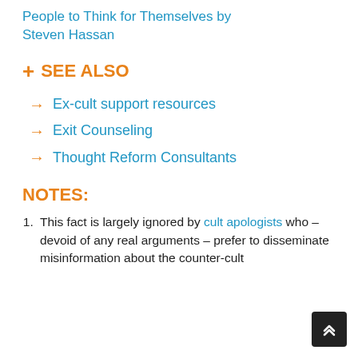People to Think for Themselves by Steven Hassan
+ SEE ALSO
Ex-cult support resources
Exit Counseling
Thought Reform Consultants
NOTES:
This fact is largely ignored by cult apologists who – devoid of any real arguments – prefer to disseminate misinformation about the counter-cult